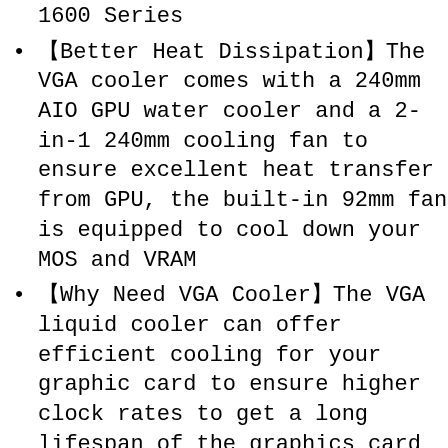1600 Series
【Better Heat Dissipation】The VGA cooler comes with a 240mm AIO GPU water cooler and a 2-in-1 240mm cooling fan to ensure excellent heat transfer from GPU, the built-in 92mm fan is equipped to cool down your MOS and VRAM
【Why Need VGA Cooler】The VGA liquid cooler can offer efficient cooling for your graphic card to ensure higher clock rates to get a long lifespan of the graphics card
【Quiet Operation】The low noise impeller and PWM fan ensure ultra-quiet even under full load. The fan speed can be adjustable according to the GPU temperature via the PWM